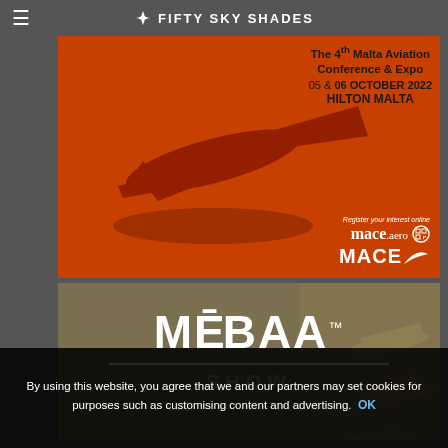FIFTY SKY SHADES
[Figure (photo): Orange background advertisement for the 4th Malta Aviation Conference & Expo with airplane silhouette shadow. Text: The 4th Malta Aviation Conference & Expo 05 & 06 OCTOBER 2022 HILTON MALTA. Register your interest online mace.aero. MACE logo.]
[Figure (photo): MEBAA SHOW advertisement with tan/khaki background showing airplane models on the right side. DWC DUBAI AIRSHOW SITE text at bottom.]
By using this website, you agree that we and our partners may set cookies for purposes such as customising content and advertising. OK